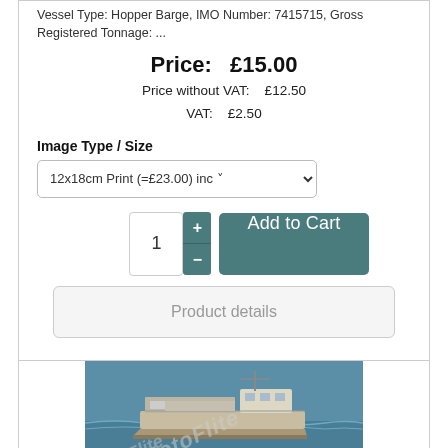Vessel Type: Hopper Barge, IMO Number: 7415715, Gross Registered Tonnage: ...
Price:  £15.00
Price without VAT:    £12.50
VAT:    £2.50
Image Type / Size
12x18cm Print (=£23.00) inc
1  +  -  Add to Cart
Product details
[Figure (photo): Photograph of a hopper barge vessel at sea with a watermark 'FotoFlite' overlaid diagonally.]